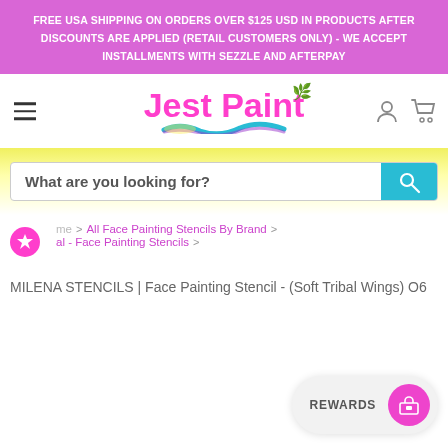FREE USA SHIPPING ON ORDERS OVER $125 USD IN PRODUCTS AFTER DISCOUNTS ARE APPLIED (RETAIL CUSTOMERS ONLY) - WE ACCEPT INSTALLMENTS WITH SEZZLE AND AFTERPAY
[Figure (logo): Jest Paint logo with pink cursive text and colorful brush stroke underline, hamburger menu, user and cart icons]
What are you looking for?
Home > All Face Painting Stencils By Brand > al - Face Painting Stencils > MILENA STENCILS | Face Painting Stencil - (Soft Tribal Wings) O6
MILENA STENCILS | Face Painting Stencil - (Soft Tribal Wings) O6
REWARDS